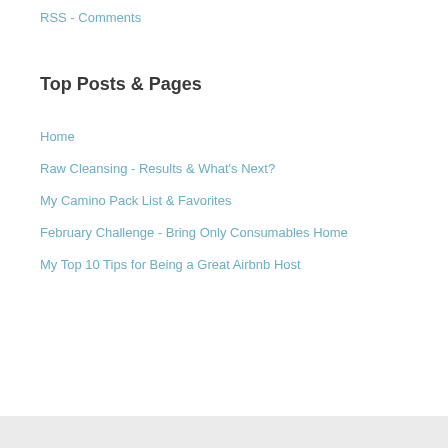RSS - Comments
Top Posts & Pages
Home
Raw Cleansing - Results & What's Next?
My Camino Pack List & Favorites
February Challenge - Bring Only Consumables Home
My Top 10 Tips for Being a Great Airbnb Host